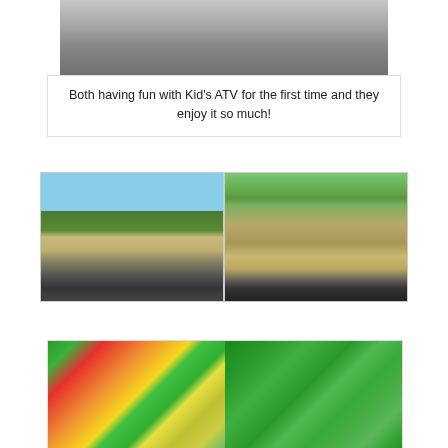[Figure (photo): Close-up photo of ATV equipment/tires and hoses on sandy ground]
Both having fun with Kid's ATV for the first time and they enjoy it so much!
[Figure (photo): Two side-by-side photos of children riding Kid's ATVs on a sandy outdoor track with palm trees in background]
[Figure (photo): Two side-by-side photos of a colorful indoor playground with slides and ball pit on the left, and green jungle gym structures on the right]